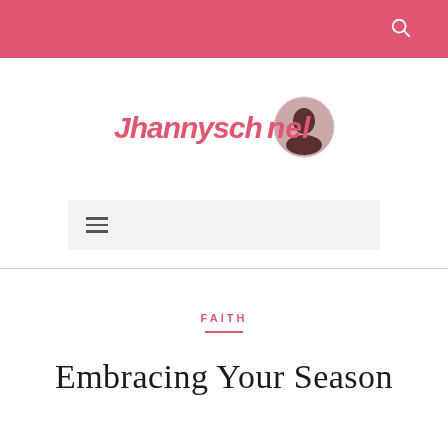[Figure (logo): Jhannyschannel blog logo with stylized red cursive text and circular portrait photo]
[Figure (other): Navigation hamburger menu icon on light gray background bar]
FAITH
Embracing Your Season